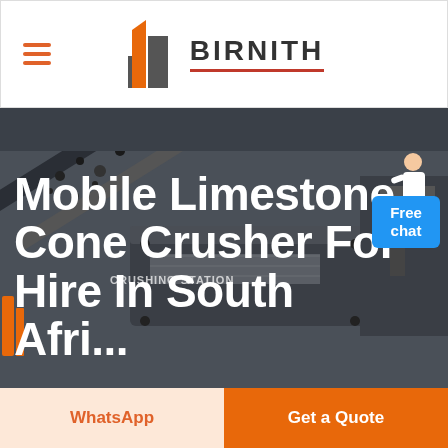[Figure (logo): Birnith company logo with orange and grey building icon and BIRNITH text with red underline]
[Figure (photo): Mobile limestone crushing station machinery in dark industrial setting with material being processed]
Mobile Limestone Cone Crusher For Hire In South Africa
Free chat
WhatsApp
Get a Quote